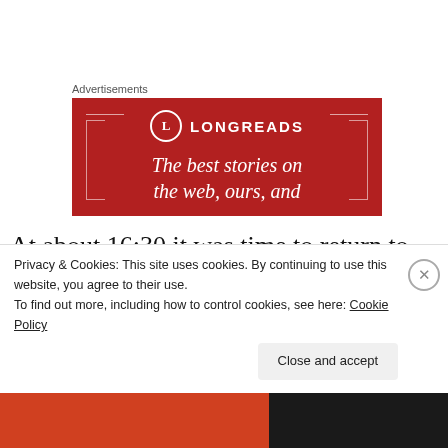Advertisements
[Figure (screenshot): Longreads advertisement banner with red background showing logo and text 'The best stories on the web, ours, and']
At about 16:30 it was time to return to the hospital and having eaten my final meal of the day on the ward (instant vegetable soup, which
Privacy & Cookies: This site uses cookies. By continuing to use this website, you agree to their use.
To find out more, including how to control cookies, see here: Cookie Policy
Close and accept